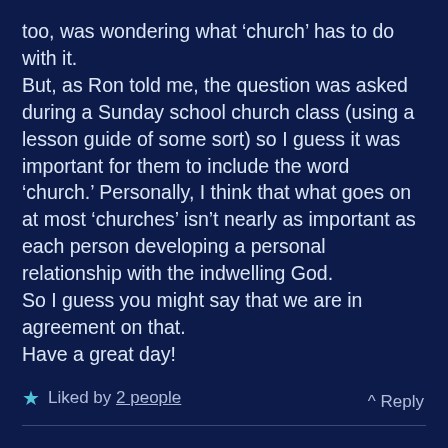too, was wondering what 'church' has to do with it.
But, as Ron told me, the question was asked during a Sunday school church class (using a lesson guide of some sort) so I guess it was important for them to include the word 'church.' Personally, I think that what goes on at most 'churches' isn't nearly as important as each person developing a personal relationship with the indwelling God.
So I guess you might say that we are in agreement on that.
Have a great day!
★ Liked by 2 people
^ Reply